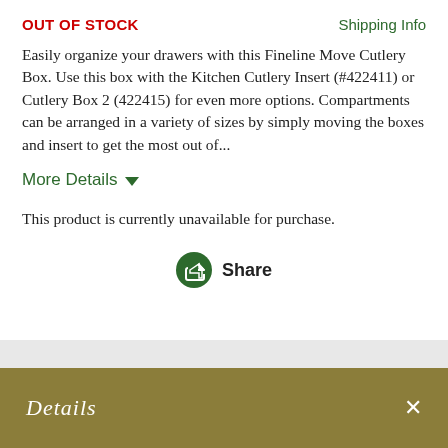OUT OF STOCK
Shipping Info
Easily organize your drawers with this Fineline Move Cutlery Box. Use this box with the Kitchen Cutlery Insert (#422411) or Cutlery Box 2 (422415) for even more options. Compartments can be arranged in a variety of sizes by simply moving the boxes and insert to get the most out of...
More Details
This product is currently unavailable for purchase.
Share
Details